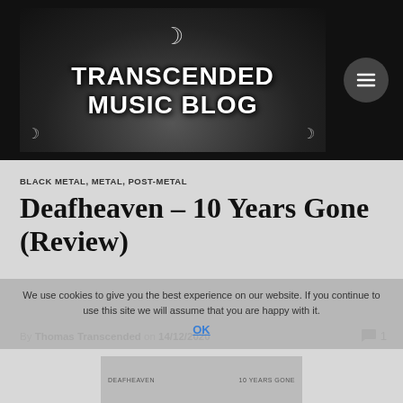[Figure (logo): Transcended Music Blog logo with crescent moon and distressed text on dark textured background]
BLACK METAL, METAL, POST-METAL
Deafheaven – 10 Years Gone (Review)
We use cookies to give you the best experience on our website. If you continue to use this site we will assume that you are happy with it. OK
By Thomas Transcended on 14/12/2020
[Figure (other): Album artwork preview thumbnail at bottom of page]